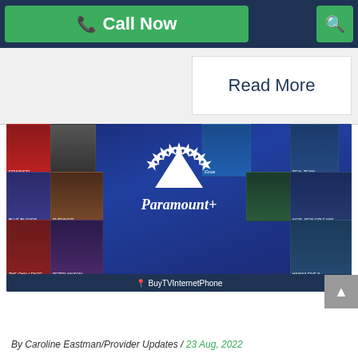Call Now | Search
Read More
[Figure (screenshot): Paramount+ streaming service promotional image showing a collage of TV show posters (Frasier, Blue Bloods, Survivor, Perry Mason, The Challenge, iGrow, Seal Team, NCIS New Orleans, Hawaii Five-0, and others) with the Paramount+ logo centered over them. A watermark bar at the bottom reads 'BuyTVInternetPhone'.]
By Caroline Eastman/Provider Updates / 23 Aug, 2022